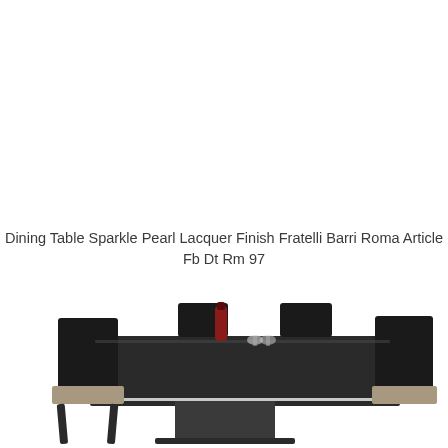[Figure (photo): A modern dining table with dark lacquer finish (Sparkle Pearl Lacquer) by Fratelli Barri Roma, shown with matching dark high-gloss chairs. A red wine bottle and glasses are placed on the table. The table has a rectangular top with chrome accents and a central pedestal base.]
Dining Table Sparkle Pearl Lacquer Finish Fratelli Barri Roma Article Fb Dt Rm 97